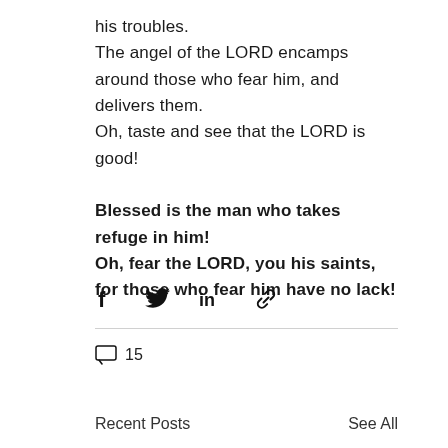his troubles.
The angel of the LORD encamps around those who fear him, and delivers them.
Oh, taste and see that the LORD is good!

Blessed is the man who takes refuge in him!
Oh, fear the LORD, you his saints, for those who fear him have no lack!
[Figure (infographic): Social share icons: Facebook (f), Twitter (bird), LinkedIn (in), Link (chain link)]
15
Recent Posts
See All